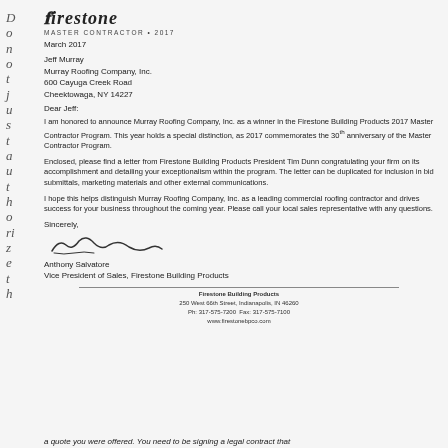[Figure (logo): Firestone logo with text 'Firestone MASTER CONTRACTOR • 2017']
March 2017
Jeff Murray
Murray Roofing Company, Inc.
600 Cayuga Creek Road
Cheektowaga, NY 14227
Dear Jeff:
I am honored to announce Murray Roofing Company, Inc. as a winner in the Firestone Building Products 2017 Master Contractor Program. This year holds a special distinction, as 2017 commemorates the 30th anniversary of the Master Contractor Program.
Enclosed, please find a letter from Firestone Building Products President Tim Dunn congratulating your firm on its accomplishment and detailing your exceptionalism within the program. The letter can be duplicated for inclusion in bid submittals, marketing materials and other external communications.
I hope this helps distinguish Murray Roofing Company, Inc. as a leading commercial roofing contractor and drives success for your business throughout the coming year. Please call your local sales representative with any questions.
Sincerely,
[Figure (illustration): Handwritten signature of Anthony Salvatore]
Anthony Salvatore
Vice President of Sales, Firestone Building Products
Firestone Building Products
250 West 66th Street, Indianapolis, IN 46260
Ph: 317-575-7200  Fax: 317-575-7100
www.firestonebpco.com
a quote you were offered. You need to be signing a legal contract that